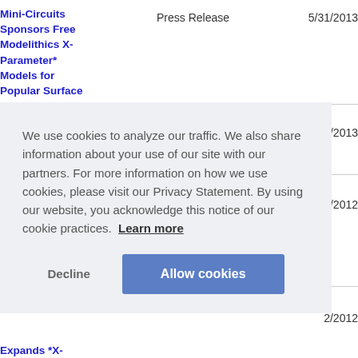Mini-Circuits Sponsors Free Modelithics X-Parameter* Models for Popular Surface
Press Release
5/31/2013
/2013
/2012
2/2012
We use cookies to analyze our traffic. We also share information about your use of our site with our partners. For more information on how we use cookies, please visit our Privacy Statement. By using our website, you acknowledge this notice of our cookie practices. Learn more
Expands *X-